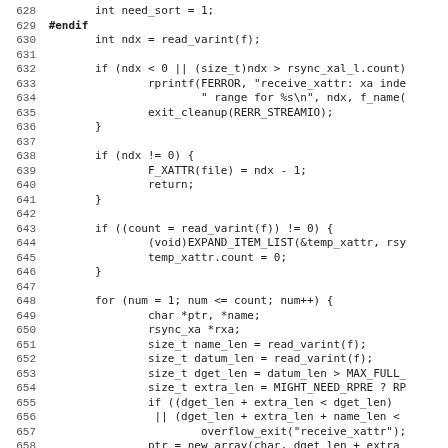[Figure (other): Source code listing lines 628-659, showing C code for reading xattr data, including variable declarations, conditional checks, and a for loop.]